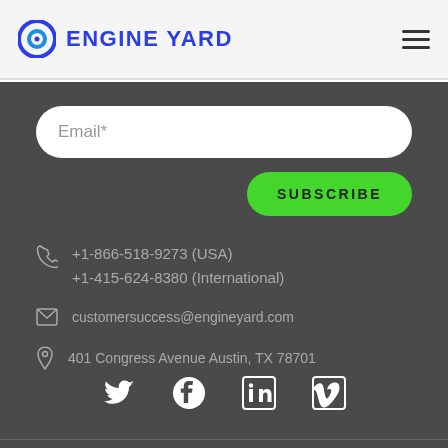ENGINE YARD
Email*
SUBSCRIBE
+1-866-518-9273 (USA)
+1-415-624-8380 (International)
customersuccess@engineyard.com
401 Congress Avenue Austin, TX 78701
[Figure (infographic): Social media icons row: Twitter, Facebook, LinkedIn, Vimeo]